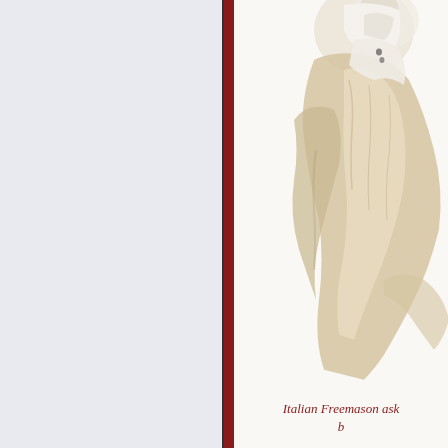[Figure (illustration): Left panel with light blue-grey background, separated by a dark red vertical divider stripe from the right panel. Right panel shows an illustration or painting of a figure dressed in flowing white and cream/beige robes or garments, with fabric billowing and swirling around the body. The figure appears to be in motion. Background is off-white/cream.]
Italian Freemason ask b